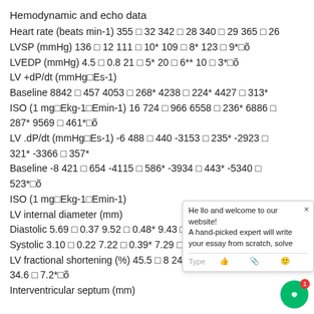Hemodynamic and echo data
Heart rate (beats min-1) 355 ± 32 342 ± 28 340 ± 29 365 ± 26
LVSP (mmHg) 136 ± 12 111 ± 10* 109 ± 8* 123 ± 9*†õ
LVEDP (mmHg) 4.5 ± 0.8 21 ± 5* 20 ± 6** 10 ± 3*†õ
LV +dP/dt (mmHg·Es-1)
Baseline 8842 ± 457 4053 ± 268* 4238 ± 224* 4427 ± 313*
ISO (1 mg·Ekg-1·Emin-1) 16 724 ± 966 6558 ± 236* 6886 ± 287* 9569 ± 461*†õ
LV .dP/dt (mmHg·Es-1) -6 488 ± 440 -3153 ± 235* -2923 ± 321* -3366 ± 357*
Baseline -8 421 ± 654 -4115 ± 586* -3934 ± 443* -5340 ± 523*†õ
ISO (1 mg·Ekg-1·Emin-1)
LV internal diameter (mm)
Diastolic 5.69 ± 0.37 9.52 ± 0.48* 9.43 ± 0.56* 7.1
Systolic 3.10 ± 0.22 7.22 ± 0.39* 7.29 ± 0.44* 5.10
LV fractional shortening (%) 45.5 ± 8 24.1 ± 4.6* 22.8 ± 5.9* 34.6 ± 7.2*†õ
Interventricular septum (mm)